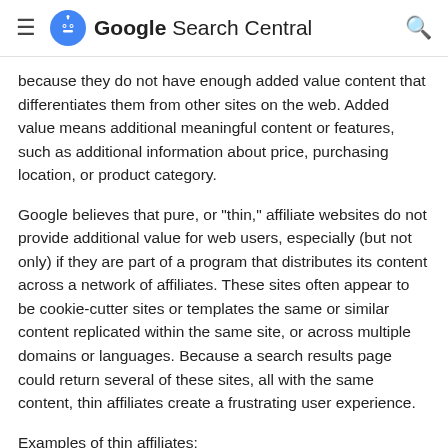Google Search Central
because they do not have enough added value content that differentiates them from other sites on the web. Added value means additional meaningful content or features, such as additional information about price, purchasing location, or product category.
Google believes that pure, or "thin," affiliate websites do not provide additional value for web users, especially (but not only) if they are part of a program that distributes its content across a network of affiliates. These sites often appear to be cookie-cutter sites or templates the same or similar content replicated within the same site, or across multiple domains or languages. Because a search results page could return several of these sites, all with the same content, thin affiliates create a frustrating user experience.
Examples of thin affiliates: